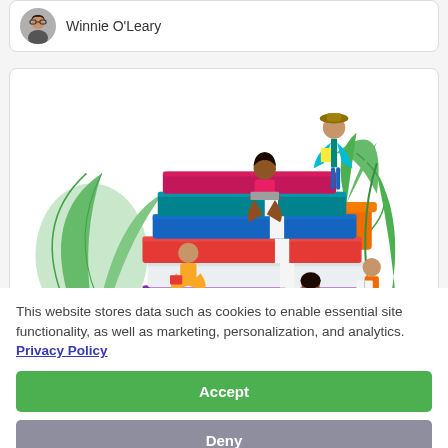Winnie O'Leary
[Figure (illustration): Colorful illustration of diverse people reading books and using laptops, surrounded by large stacked books and tropical plants.]
This website stores data such as cookies to enable essential site functionality, as well as marketing, personalization, and analytics. Privacy Policy
Accept
Deny